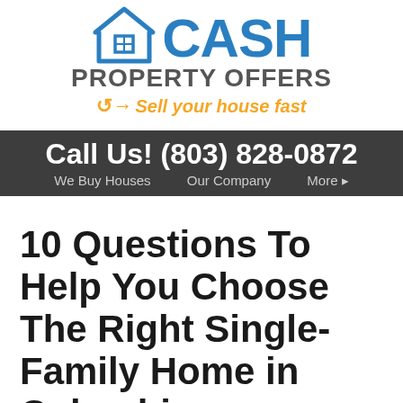[Figure (logo): Cash Property Offers logo with house icon, blue CASH text, gray PROPERTY OFFERS text, and orange arrow tagline 'Sell your house fast']
Call Us! (803) 828-0872
We Buy Houses   Our Company   More ▸
10 Questions To Help You Choose The Right Single-Family Home in Columbia